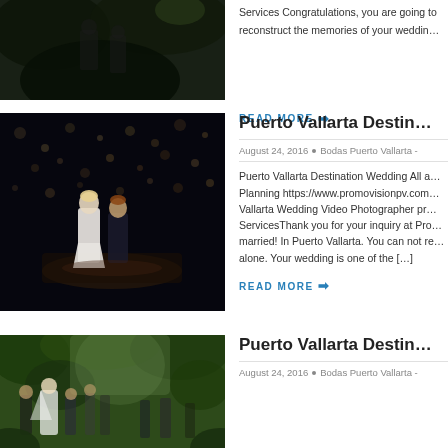[Figure (photo): Partial top image of a dark wedding/event scene, cropped at top]
Services Congratulations, you are going to reconstruct the memories of your wedding…
READ MORE →
[Figure (photo): Wedding cake topper figurines (bride and groom) against a dark bokeh night background with string lights]
Puerto Vallarta Destin…
August 24, 2016 • Bodas Puerto Vallarta -
Puerto Vallarta Destination Wedding All a… Planning https://www.promovisionpv.com… Vallarta Wedding Video Photographer pr… ServicesThank you for your inquiry at Pro… married! In Puerto Vallarta. You can not re… alone. Your wedding is one of the […]
READ MORE →
[Figure (photo): Wedding ceremony outdoors with guests, green foliage in background]
Puerto Vallarta Destin…
August 24, 2016 • Bodas Puerto Vallarta -